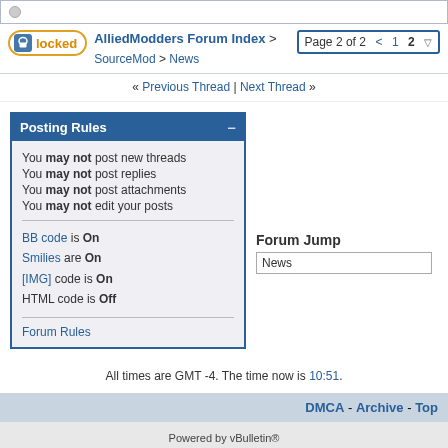AlliedModders Forum Index > SourceMod > News | Page 2 of 2
« Previous Thread | Next Thread »
Posting Rules
You may not post new threads
You may not post replies
You may not post attachments
You may not edit your posts
BB code is On
Smilies are On
[IMG] code is On
HTML code is Off
Forum Rules
Forum Jump
News
All times are GMT -4. The time now is 10:51.
DMCA - Archive - Top
Powered by vBulletin®
Copyright ©2000 - 2022, vBulletin Solutions, Inc.
Theme made by Freecode